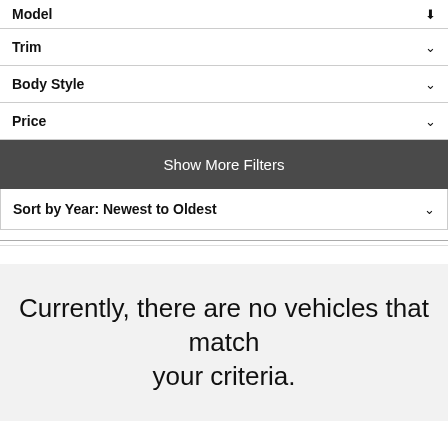Model ▾
Trim ▾
Body Style ▾
Price ▾
Show More Filters
Sort by Year: Newest to Oldest ▾
Currently, there are no vehicles that match your criteria.